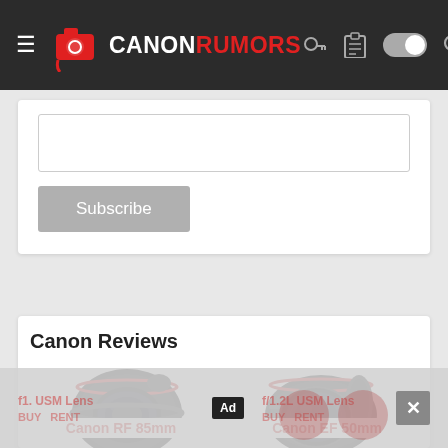CANON RUMORS navigation bar with logo, hamburger menu, key icon, clipboard icon, toggle switch, search icon
[Figure (screenshot): Email subscription input field (text box) inside a white card]
Subscribe
Canon Reviews
[Figure (photo): Canon RF 85mm lens product photo - black lens with red ring]
[Figure (photo): Canon EF 50mm lens product photo - black lens with red ring]
Canon RF 85mm
Canon EF 50mm
f1. USM Lens
f/1.2L USM Lens
BUY   RENT
BUY   RENT
Ad